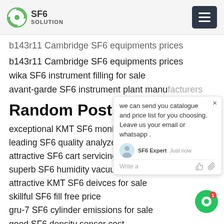SF6 SOLUTION
b143r11 Cambridge SF6 equipments prices
wika SF6 instrument filling for sale
avant-garde SF6 instrument plant manufacturers
Random Posts:
exceptional KMT SF6 monitoring system
leading SF6 quality analyzer calibration
attractive SF6 cart servicing cost
superb SF6 humidity vacuum pricing
attractive KMT SF6 deivces for sale
skillful SF6 fill free price
gru-7 SF6 cylinder emissions for sale
good SF6 density sensor cost
[Figure (screenshot): Chat popup overlay with SF6 Expert avatar, message about sending catalogue and price list, and write/attachment icons]